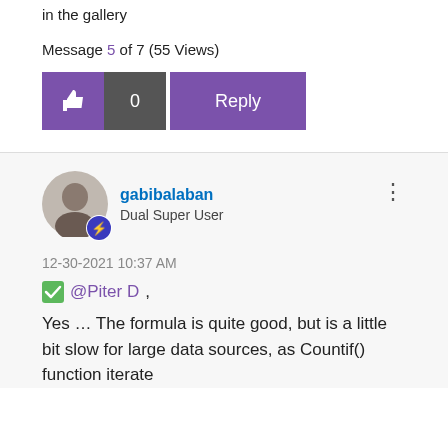in the gallery
Message 5 of 7 (55 Views)
[Figure (screenshot): Like button (thumbs up icon, purple background), count 0 (dark grey background), and Reply button (purple background)]
[Figure (photo): User avatar photo of gabibalaban, with a Dual Super User badge icon]
gabibalaban
Dual Super User
12-30-2021 10:37 AM
@Piter D ,
Yes … The formula is quite good, but is a little bit slow for large data sources, as Countif() function iterate